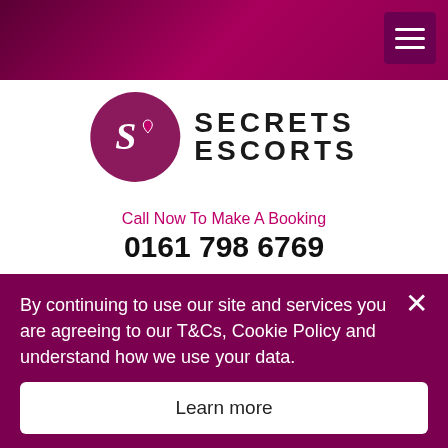[Figure (logo): Secrets Escorts logo with circular emblem containing stylized S and heart, and text SECRETS ESCORTS]
Call Now To Make A Booking
0161 798 6769
Home > Blog > Beautiful Babe Sienna - A party girl escort in Manchester
BEAUTIFUL BABE SIENNA - A
By continuing to use our site and services you are agreeing to our T&Cs, Cookie Policy and understand how we use your data.
Learn more